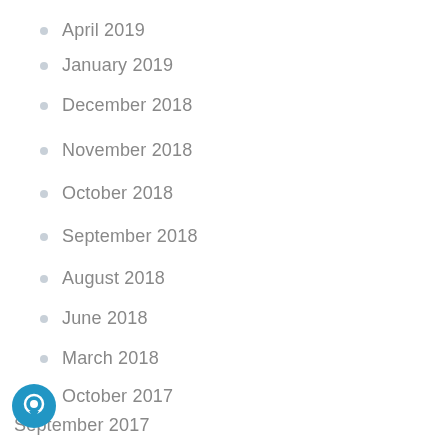April 2019
January 2019
December 2018
November 2018
October 2018
September 2018
August 2018
June 2018
March 2018
October 2017
September 2017